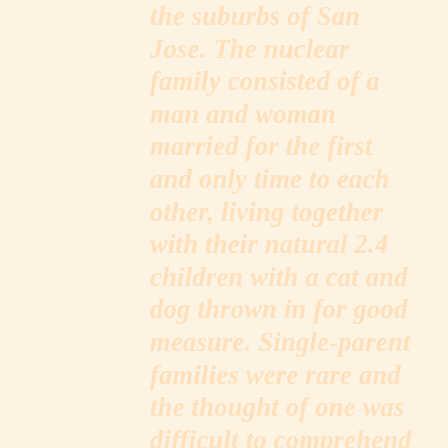the suburbs of San Jose. The nuclear family consisted of a man and woman married for the first and only time to each other, living together with their natural 2.4 children with a cat and dog thrown in for good measure. Single-parent families were rare and the thought of one was difficult to comprehend to our society. Mart's dad had passed away when he was 2 and his mother had never remarried. He was the exception in the group. We all went to the same schools, studied the same things, and had the same teachers our brothers and sisters had. At school we dressed up in costumes for Halloween, planted trees on Arbor Day, sent tiny little punch-out paper hearts around for Valentine's Day and had both Lincoln's and Washington's birthdays off. We obeyed most of the rules, feared discipline from our parents if we screwed up, and any young woman getting pregnant paid the penalty of either being banished to a relatives house until delivery and adoption took